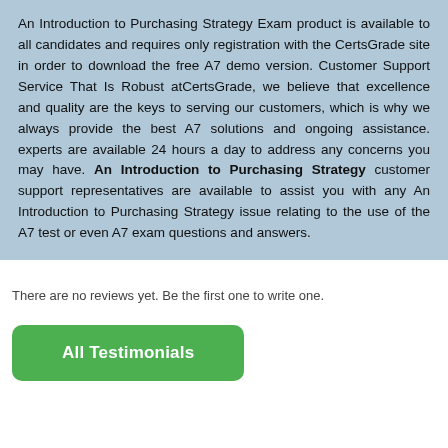An Introduction to Purchasing Strategy Exam product is available to all candidates and requires only registration with the CertsGrade site in order to download the free A7 demo version. Customer Support Service That Is Robust atCertsGrade, we believe that excellence and quality are the keys to serving our customers, which is why we always provide the best A7 solutions and ongoing assistance. experts are available 24 hours a day to address any concerns you may have. An Introduction to Purchasing Strategy customer support representatives are available to assist you with any An Introduction to Purchasing Strategy issue relating to the use of the A7 test or even A7 exam questions and answers.
There are no reviews yet. Be the first one to write one.
All Testimonials